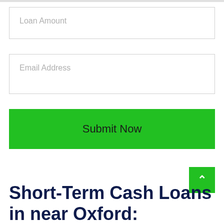Loan Amount
Email Address
Submit Now
Short-Term Cash Loans in near Oxford: